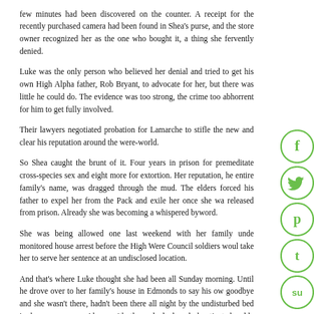few minutes had been discovered on the counter. A receipt for the recently purchased camera had been found in Shea's purse, and the store owner recognized her as the one who bought it, a thing she fervently denied.
Luke was the only person who believed her denial and tried to get his own High Alpha father, Rob Bryant, to advocate for her, but there was little he could do. The evidence was too strong, the crime too abhorrent for him to get fully involved.
Their lawyers negotiated probation for Lamarche to stifle the new and clear his reputation around the were-world.
So Shea caught the brunt of it. Four years in prison for premeditate cross-species sex and eight more for extortion. Her reputation, he entire family's name, was dragged through the mud. The elders forced his father to expel her from the Pack and exile her once she wa released from prison. Already she was becoming a whispered byword.
She was being allowed one last weekend with her family under monitored house arrest before the High Were Council soldiers woul take her to serve her sentence at an undisclosed location.
And that's where Luke thought she had been all Sunday morning. Until he drove over to her family's house in Edmonds to say his ow goodbye and she wasn't there, hadn't been there all night by the undisturbed bed in her own room. Along with the unlocked and deactivated ankle monitor that had been affixed right after her
[Figure (infographic): Vertical stack of five green circular social media share buttons: Facebook (f), Twitter (bird), Pinterest (p), Tumblr (t), StumbleUpon (su)]